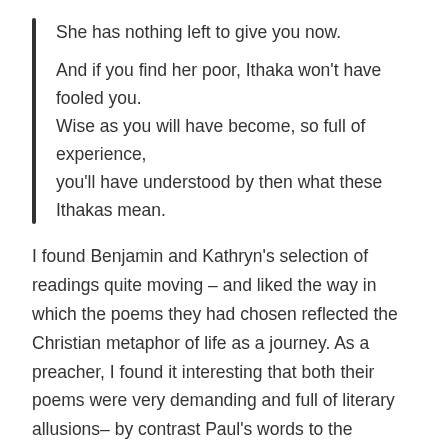She has nothing left to give you now.

And if you find her poor, Ithaka won't have fooled you.
Wise as you will have become, so full of experience,
you'll have understood by then what these Ithakas mean.
I found Benjamin and Kathryn's selection of readings quite moving – and liked the way in which the poems they had chosen reflected the Christian metaphor of life as a journey. As a preacher, I found it interesting that both their poems were very demanding and full of literary allusions– by contrast Paul's words to the